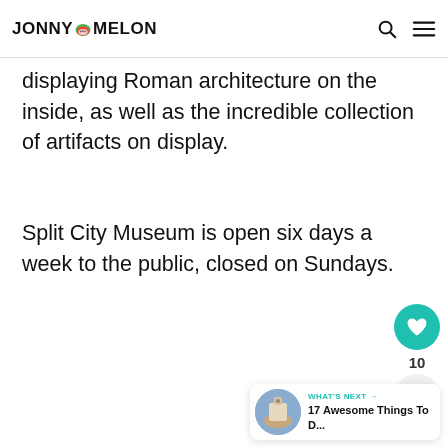JONNY MELON
displaying Roman architecture on the inside, as well as the incredible collection of artifacts on display.
Split City Museum is open six days a week to the public, closed on Sundays.
10
WHAT'S NEXT → 17 Awesome Things To D...